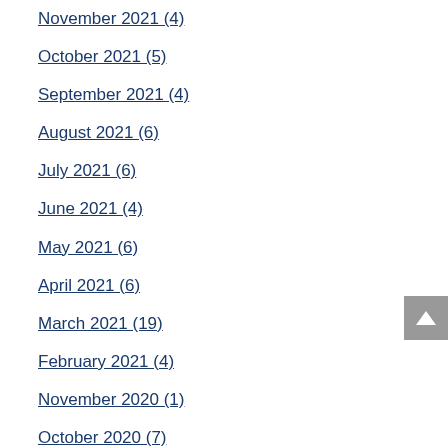November 2021 (4)
October 2021 (5)
September 2021 (4)
August 2021 (6)
July 2021 (6)
June 2021 (4)
May 2021 (6)
April 2021 (6)
March 2021 (19)
February 2021 (4)
November 2020 (1)
October 2020 (7)
September 2020 (5)
August 2020 (5)